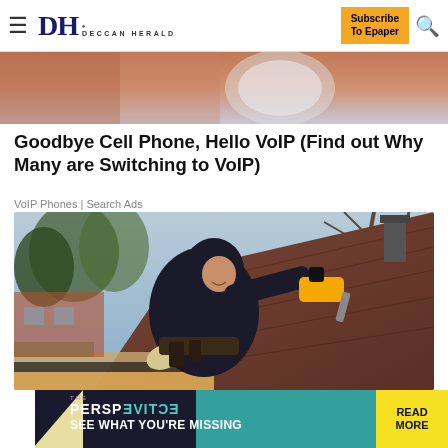DH DECCAN HERALD | Subscribe To Epaper
[Figure (photo): Cropped top portion of a previous article image showing blurred circular shape]
Goodbye Cell Phone, Hello VoIP (Find out Why Many are Switching to VoIP)
VoIP Phones | Search Ads
[Figure (photo): A man in a dark hoodie working on a roof gutter with a power drill, trees and brick house visible in background]
[Figure (infographic): Advertisement banner: THE PERSPECTIVE SEE WHAT YOU'RE MISSING | READ MORE]